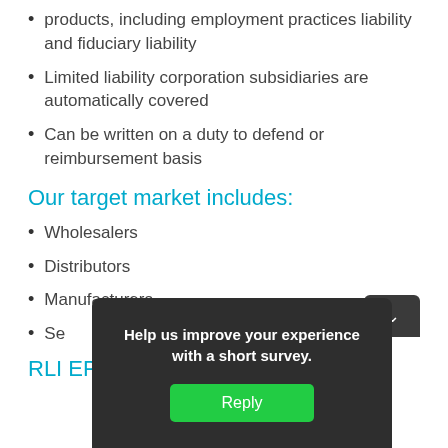products, including employment practices liability and fiduciary liability
Limited liability corporation subsidiaries are automatically covered
Can be written on a duty to defend or reimbursement basis
Our target market includes:
Wholesalers
Distributors
Manufacturers
Se…
RLI EP…
[Figure (screenshot): Dark popup survey modal with text 'Help us improve your experience with a short survey.' and a green Reply button, with a toggle arrow button in the top-right corner.]